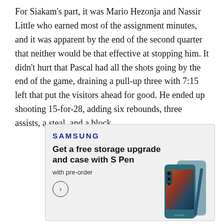For Siakam's part, it was Mario Hezonja and Nassir Little who earned most of the assignment minutes, and it was apparent by the end of the second quarter that neither would be that effective at stopping him. It didn't hurt that Pascal had all the shots going by the end of the game, draining a pull-up three with 7:15 left that put the visitors ahead for good. He ended up shooting 15-for-28, adding six rebounds, three assists, a steal, and a block.
[Figure (other): Samsung advertisement with logo, headline 'Get a free storage upgrade and case with S Pen', subtext 'with pre-order', a circular arrow button, and a Samsung Galaxy Z Fold phone with S Pen on gray background.]